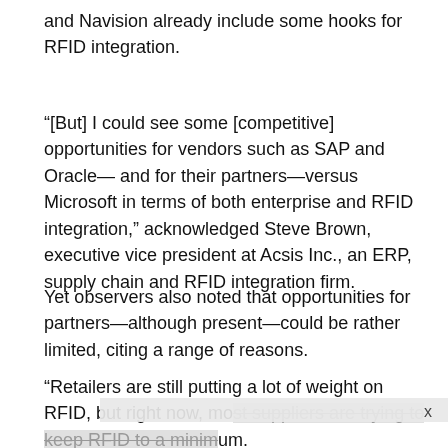and Navision already include some hooks for RFID integration.
“[But] I could see some [competitive] opportunities for vendors such as SAP and Oracle— and for their partners—versus Microsoft in terms of both enterprise and RFID integration,” acknowledged Steve Brown, executive vice president at Acsis Inc., an ERP, supply chain and RFID integration firm.
Yet observers also noted that opportunities for partners—although present—could be rather limited, citing a range of reasons.
“Retailers are still putting a lot of weight on RFID, but right now, mo­t suppliers are trying to keep RFID to a minim­um. Many of … n told —WEEK